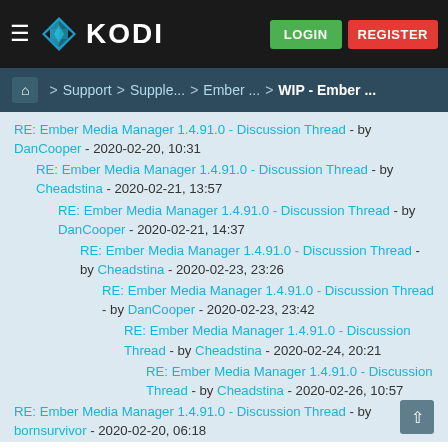[Figure (logo): Kodi logo with hamburger menu and LOGIN/REGISTER buttons on dark header bar]
Home > Support > Supple... > Ember... > WIP - Ember...
RE: Ember Media Manager 1.4.91.0 - Discussion Thread - by DanCooper - 2020-02-20, 10:31
RE: Ember Media Manager 1.4.91.0 - Discussion Thread - by Cheadstina - 2020-02-21, 13:57
RE: Ember Media Manager 1.4.91.0 - Discussion Thread - by DanCooper - 2020-02-21, 14:37
RE: Ember Media Manager 1.4.91.0 - Discussion Thread - by Cheadstina - 2020-02-23, 23:26
RE: Ember Media Manager 1.4.91.0 - Discussion Thread - by DanCooper - 2020-02-23, 23:42
RE: Ember Media Manager 1.4.91.0 - Discussion Thread - by Cheadstina - 2020-02-24, 20:21
RE: Ember Media Manager 1.4.91.0 - Discussion Thread - by Cheadstina - 2020-02-26, 10:57
RE: Ember Media Manager 1.4.91.0 - Discussion Thread - by bornsurvivor - 2020-02-20, 06:18
RE: Ember Media Manager 1.4.91.0 - Discussion Thread - by DanCooper - 2020-02-20, 10:33
Ember Media Manager 1.4.91.x - Discussion Thread - by solamnic -